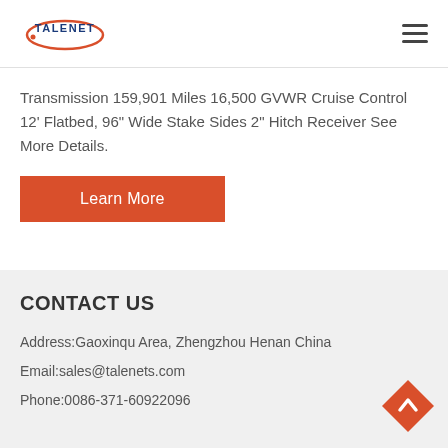TALENET (logo) | hamburger menu
Transmission 159,901 Miles 16,500 GVWR Cruise Control 12' Flatbed, 96" Wide Stake Sides 2" Hitch Receiver See More Details.
Learn More
CONTACT US
Address:Gaoxinqu Area, Zhengzhou Henan China
Email:sales@talenets.com
Phone:0086-371-60922096